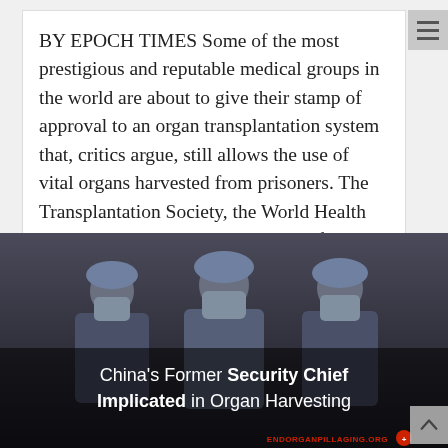BY EPOCH TIMES Some of the most prestigious and reputable medical groups in the world are about to give their stamp of approval to an organ transplantation system that, critics argue, still allows the use of vital organs harvested from prisoners. The Transplantation Society, the World Health Organization, and the Declaration of Istanbul Custodian Group...
[Figure (photo): Three medical professionals in blue surgical gowns, caps, and face masks standing together in what appears to be a hospital/clinical setting. Overlaid text reads: China's Former Security Chief Implicated in Organ Harvesting. Bottom right shows ENDORGANPILLAGING.ORG logo.]